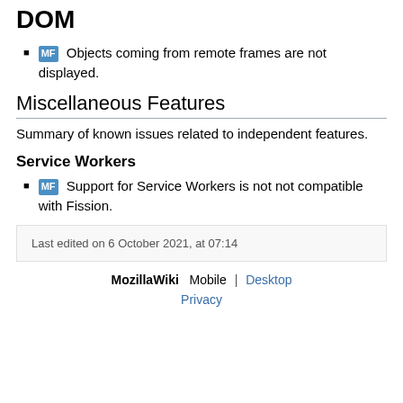DOM
MF Objects coming from remote frames are not displayed.
Miscellaneous Features
Summary of known issues related to independent features.
Service Workers
MF Support for Service Workers is not not compatible with Fission.
Last edited on 6 October 2021, at 07:14
MozillaWiki  Mobile  |  Desktop
Privacy